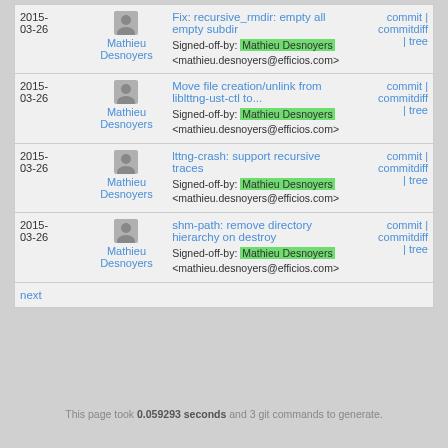| Date | Author | Message | Links |
| --- | --- | --- | --- |
| 2015-03-26 | Mathieu Desnoyers | Fix: recursive_rmdir: empty all empty subdir
Signed-off-by: Mathieu Desnoyers <mathieu.desnoyers@efficios.com> | commit | commitdiff | tree |
| 2015-03-26 | Mathieu Desnoyers | Move file creation/unlink from liblttng-ust-ctl to...
Signed-off-by: Mathieu Desnoyers <mathieu.desnoyers@efficios.com> | commit | commitdiff | tree |
| 2015-03-26 | Mathieu Desnoyers | lttng-crash: support recursive traces
Signed-off-by: Mathieu Desnoyers <mathieu.desnoyers@efficios.com> | commit | commitdiff | tree |
| 2015-03-26 | Mathieu Desnoyers | shm-path: remove directory hierarchy on destroy
Signed-off-by: Mathieu Desnoyers <mathieu.desnoyers@efficios.com> | commit | commitdiff | tree |
next
This page took 0.059293 seconds and 3 git commands to generate.